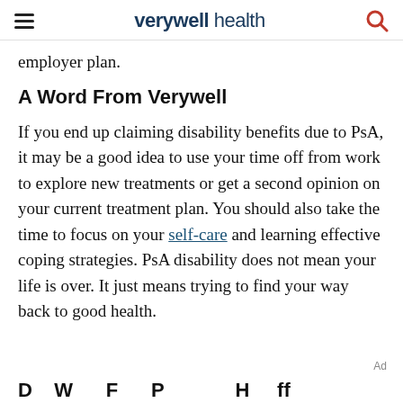verywell health
employer plan.
A Word From Verywell
If you end up claiming disability benefits due to PsA, it may be a good idea to use your time off from work to explore new treatments or get a second opinion on your current treatment plan. You should also take the time to focus on your self-care and learning effective coping strategies. PsA disability does not mean your life is over. It just means trying to find your way back to good health.